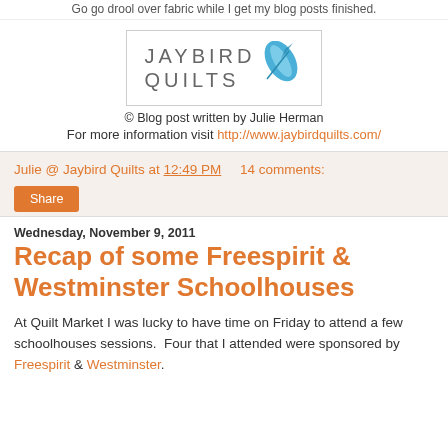Go go drool over fabric while I get my blog posts finished.
[Figure (logo): Jaybird Quilts logo with text 'JAYBIRD QUILTS' and a blue feather illustration]
© Blog post written by Julie Herman
For more information visit http://www.jaybirdquilts.com/
Julie @ Jaybird Quilts at 12:49 PM    14 comments:
Share
Wednesday, November 9, 2011
Recap of some Freespirit & Westminster Schoolhouses
At Quilt Market I was lucky to have time on Friday to attend a few schoolhouses sessions.  Four that I attended were sponsored by Freespirit & Westminster.